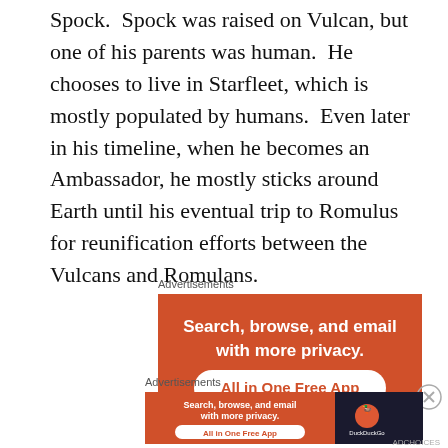Spock.  Spock was raised on Vulcan, but one of his parents was human.  He chooses to live in Starfleet, which is mostly populated by humans.  Even later in his timeline, when he becomes an Ambassador, he mostly sticks around Earth until his eventual trip to Romulus for reunification efforts between the Vulcans and Romulans.
Advertisements
[Figure (infographic): DuckDuckGo advertisement banner (large): orange background with white bold text 'Search, browse, and email with more privacy.' and a white button with orange text 'All in One Free App']
Advertisements
[Figure (infographic): DuckDuckGo advertisement banner (small): orange left section with white text 'Search, browse, and email with more privacy.' and 'All in One Free App', dark right section with DuckDuckGo duck logo and 'DuckDuckGo' text]
ADCHOICES